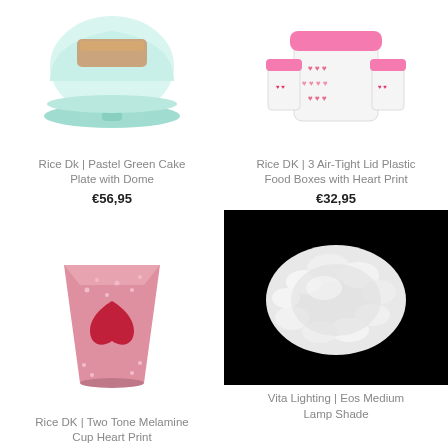[Figure (photo): Rice DK pastel green cake plate with dome on white background]
Rice Dk | Pastel Green Cake Plate with Dome
€56,95
[Figure (photo): Rice DK 3 air-tight lid plastic food boxes with heart print on white background]
Rice DK | 3 Air-Tight Lid Plastic Food Boxes with Heart Print
€32,95
[Figure (photo): Rice DK two tone melamine cup with heart print, pink floral pattern on white background]
Rice DK | Two Tone Melamine Cup Heart Print
[Figure (photo): Vita Lighting Eos Medium Lamp Shade, white fluffy shade on black background]
Vita Lighting | Eos Medium Lamp Shade